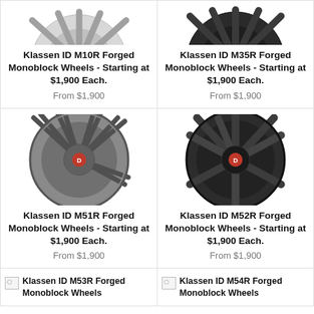[Figure (photo): Partial view of Klassen ID M10R forged monoblock wheel, silver multi-spoke, top of image cropped]
Klassen ID M10R Forged Monoblock Wheels - Starting at $1,900 Each.
From $1,900
[Figure (photo): Partial view of Klassen ID M35R forged monoblock wheel, dark/black multi-spoke, top of image cropped]
Klassen ID M35R Forged Monoblock Wheels - Starting at $1,900 Each.
From $1,900
[Figure (photo): Klassen ID M51R forged monoblock wheel, silver/gunmetal multi-spoke with red center cap]
Klassen ID M51R Forged Monoblock Wheels - Starting at $1,900 Each.
From $1,900
[Figure (photo): Klassen ID M52R forged monoblock wheel, dark/black Y-spoke with red center cap]
Klassen ID M52R Forged Monoblock Wheels - Starting at $1,900 Each.
From $1,900
[Figure (photo): Broken image icon for Klassen ID M53R Forged Monoblock Wheels]
Klassen ID M53R Forged Monoblock Wheels
[Figure (photo): Broken image icon for Klassen ID M54R Forged Monoblock Wheels]
Klassen ID M54R Forged Monoblock Wheels